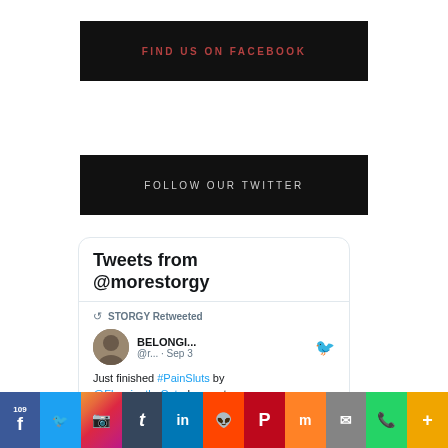[Figure (infographic): Black banner with red text 'FIND US ON FACEBOOK']
[Figure (infographic): Black banner with white text 'FOLLOW OUR TWITTER']
[Figure (screenshot): Twitter widget showing 'Tweets from @morestorgy' with a retweeted post by BELONGI... (@r...) from Sep 3 saying 'Just finished #PainSluts by @FlossingtheCat - I cannot']
[Figure (infographic): Social media sharing bar at bottom with icons for Facebook (109), Twitter, Instagram, Tumblr, LinkedIn, Reddit, Pinterest, Mix, Mail, WhatsApp, More]